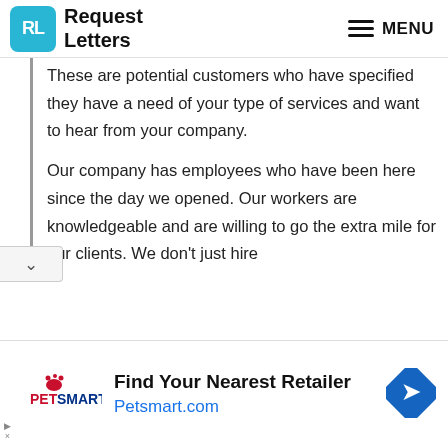Request Letters | MENU
These are potential customers who have specified they have a need of your type of services and want to hear from your company.
Our company has employees who have been here since the day we opened. Our workers are knowledgeable and are willing to go the extra mile for our clients. We don't just hire
[Figure (infographic): PetSmart advertisement banner: 'Find Your Nearest Retailer Petsmart.com' with PetSmart logo and direction sign icon]